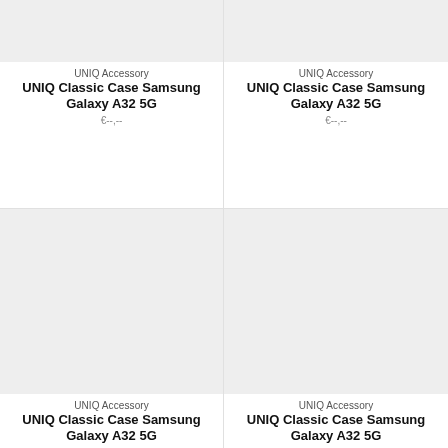[Figure (photo): Product image placeholder (light gray background) for UNIQ Classic Case Samsung Galaxy A32 5G, top-left]
UNIQ Accessory
UNIQ Classic Case Samsung Galaxy A32 5G
€--,--
[Figure (photo): Product image placeholder (light gray background) for UNIQ Classic Case Samsung Galaxy A32 5G, top-right]
UNIQ Accessory
UNIQ Classic Case Samsung Galaxy A32 5G
€--,--
[Figure (photo): Product image placeholder (light gray background) for UNIQ Classic Case Samsung Galaxy A32 5G, bottom-left]
UNIQ Accessory
UNIQ Classic Case Samsung Galaxy A32 5G
[Figure (photo): Product image placeholder (light gray background) for UNIQ Classic Case Samsung Galaxy A32 5G, bottom-right]
UNIQ Accessory
UNIQ Classic Case Samsung Galaxy A32 5G